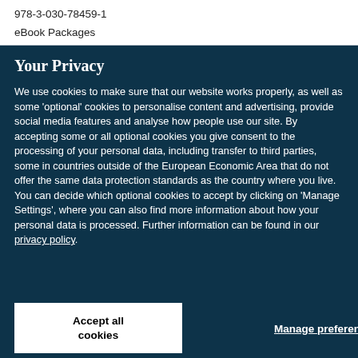978-3-030-78459-1
eBook Packages
Your Privacy
We use cookies to make sure that our website works properly, as well as some 'optional' cookies to personalise content and advertising, provide social media features and analyse how people use our site. By accepting some or all optional cookies you give consent to the processing of your personal data, including transfer to third parties, some in countries outside of the European Economic Area that do not offer the same data protection standards as the country where you live. You can decide which optional cookies to accept by clicking on 'Manage Settings', where you can also find more information about how your personal data is processed. Further information can be found in our privacy policy.
Accept all cookies
Manage preferences